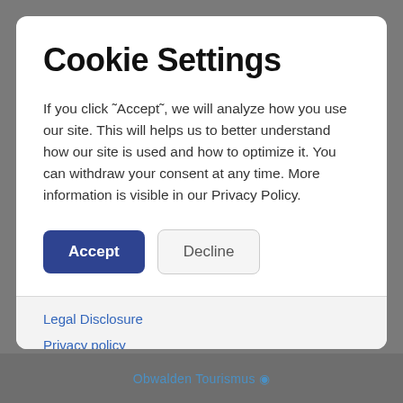Cookie Settings
If you click ˜Accept˜, we will analyze how you use our site. This will helps us to better understand how our site is used and how to optimize it. You can withdraw your consent at any time. More information is visible in our Privacy Policy.
Accept | Decline
Legal Disclosure
Privacy policy
Terms and conditions
Obwalden Tourismus